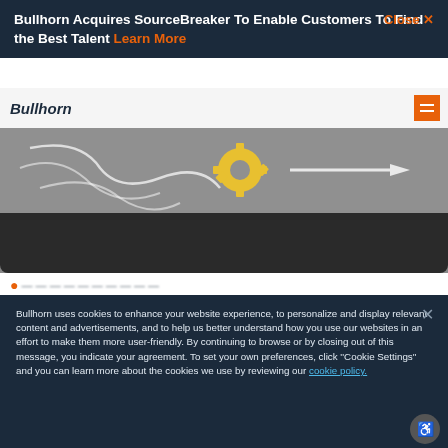Bullhorn Acquires SourceBreaker To Enable Customers To Find the Best Talent Learn More
[Figure (screenshot): Bullhorn website screenshot showing navigation bar with Bullhorn logo, gear/cog illustration in gray background, and dark strip below]
Bullhorn uses cookies to enhance your website experience, to personalize and display relevant content and advertisements, and to help us better understand how you use our websites in an effort to make them more user-friendly. By continuing to browse or by closing out of this message, you indicate your agreement. To set your own preferences, click ''Cookie Settings'' and you can learn more about the cookies we use by reviewing our cookie policy.